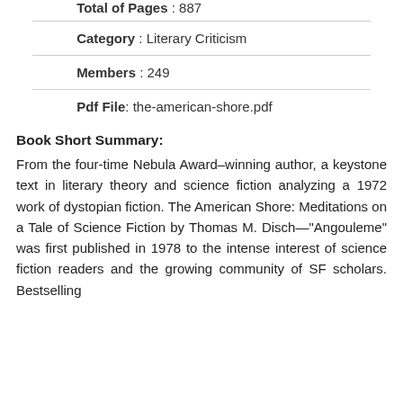Total of Pages : 887
Category : Literary Criticism
Members : 249
Pdf File: the-american-shore.pdf
Book Short Summary:
From the four-time Nebula Award–winning author, a keystone text in literary theory and science fiction analyzing a 1972 work of dystopian fiction. The American Shore: Meditations on a Tale of Science Fiction by Thomas M. Disch—"Angouleme" was first published in 1978 to the intense interest of science fiction readers and the growing community of SF scholars. Bestselling